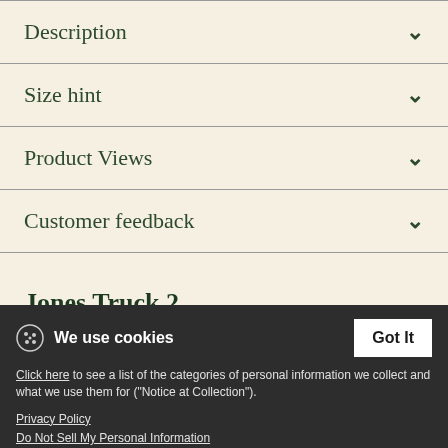Description
Size hint
Product Views
Customer feedback
Jones Truck 2
[Figure (photo): Product image thumbnails for Jones Truck 2 with dark sidebar panels]
We use cookies
Click here to see a list of the categories of personal information we collect and what we use them for ("Notice at Collection").
Privacy Policy
Do Not Sell My Personal Information
By using this website, I agree to the Terms and Conditions